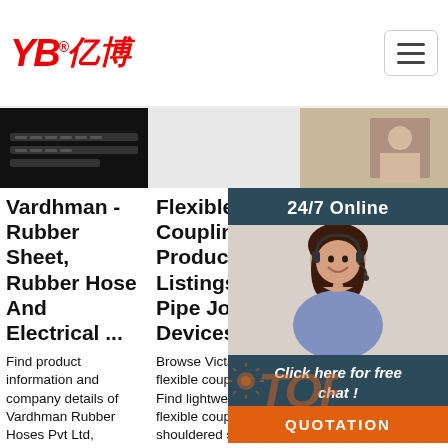[Figure (logo): YB亿博 company logo in red italic with registered trademark symbol]
[Figure (screenshot): Three image strip: dark keyboard image on left, blank middle, person at desk on right]
Vardhman - Rubber Sheet, Rubber Hose And Electrical ...
Find product information and company details of Vardhman Rubber Hoses Pvt Ltd, Vardhman Rubber Sheet, Vardhman Electrical Insulating Mats, Vardhman Electrical mat, Vardhman Electrical Rubber mat.
Flexible Couplings Product Listings - Pipe Joining Devices ...
Browse Victaulic flexible couplings. Find lightweight flexible couplings for shouldered steel pipe, restrained & non-restrained flexible couplings, & more
Ste Ho Se En
Tou Ste Hea Sea bun des environment: Industrial Facilities around the globe. Our steam-traced tube bundles are typically used in hazardous locations
[Figure (photo): Customer service agent woman with headset smiling]
24/7 Online
Click here for free chat !
QUOTATION